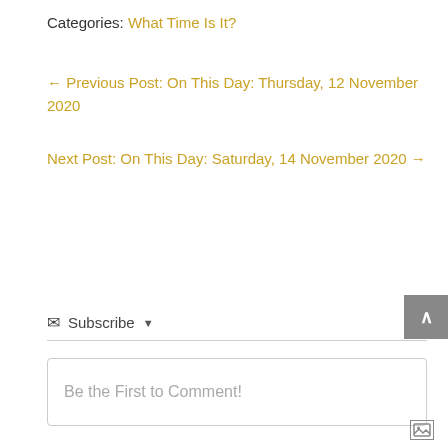Categories: What Time Is It?
← Previous Post: On This Day: Thursday, 12 November 2020
Next Post: On This Day: Saturday, 14 November 2020 →
✉ Subscribe ▼
Be the First to Comment!